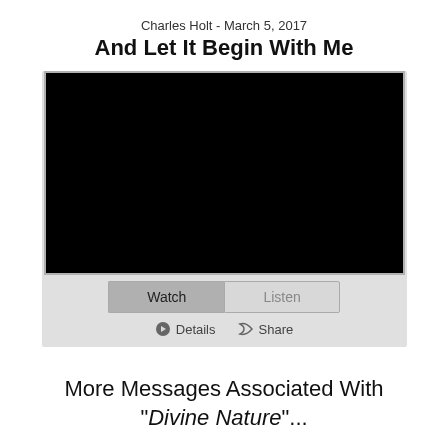Charles Holt - March 5, 2017
And Let It Begin With Me
[Figure (screenshot): Black video player screen with Watch and Listen buttons below, and Details and Share action links]
More Messages Associated With "Divine Nature"...